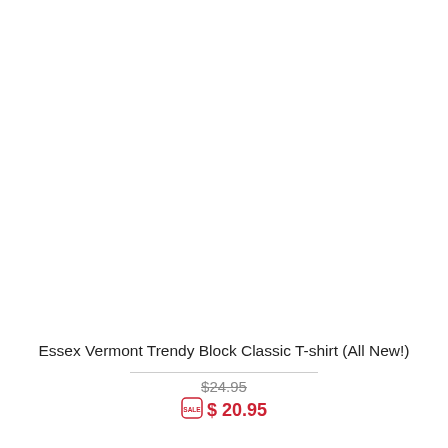[Figure (photo): Product image area (white/blank)]
Essex Vermont Trendy Block Classic T-shirt (All New!)
$24.95 (strikethrough original price) $ 20.95 (sale price with sale tag icon)